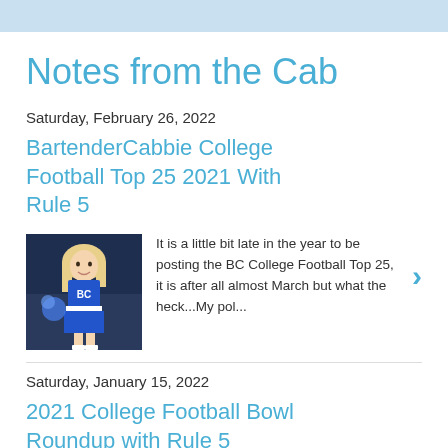Notes from the Cab
Saturday, February 26, 2022
BartenderCabbie College Football Top 25 2021 With Rule 5
[Figure (photo): A cheerleader in a blue outfit at a football game]
It is a little bit late in the year to be posting the BC College Football Top 25, it is after all almost March but what the heck...My pol...
Saturday, January 15, 2022
2021 College Football Bowl Roundup with Rule 5